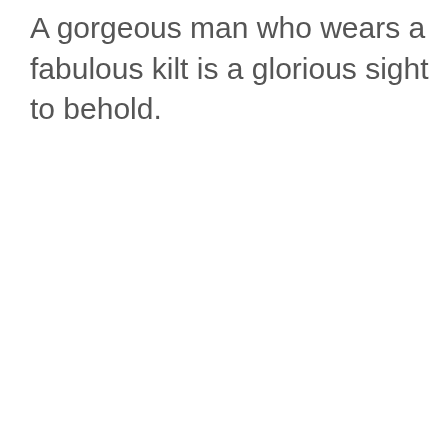A gorgeous man who wears a fabulous kilt is a glorious sight to behold.